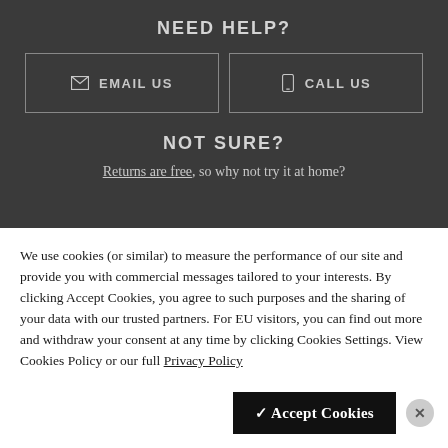NEED HELP?
[Figure (screenshot): Two buttons side by side: EMAIL US (with envelope icon) and CALL US (with phone icon), both outlined boxes on dark background]
NOT SURE?
Returns are free, so why not try it at home?
We use cookies (or similar) to measure the performance of our site and provide you with commercial messages tailored to your interests. By clicking Accept Cookies, you agree to such purposes and the sharing of your data with our trusted partners. For EU visitors, you can find out more and withdraw your consent at any time by clicking Cookies Settings. View Cookies Policy or our full Privacy Policy
[Figure (screenshot): Accept Cookies button (black) with checkmark, and a circular X close button]